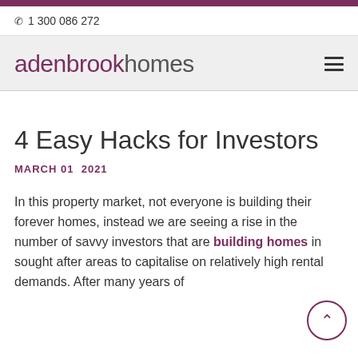1300 086 272
[Figure (logo): Adenbrook Homes logo — 'adenbrook' in mauve/purple and 'homes' in grey, with hamburger menu icon on the right]
4 Easy Hacks for Investors
MARCH 01  2021
In this property market, not everyone is building their forever homes, instead we are seeing a rise in the number of savvy investors that are building homes in sought after areas to capitalise on relatively high rental demands. After many years of